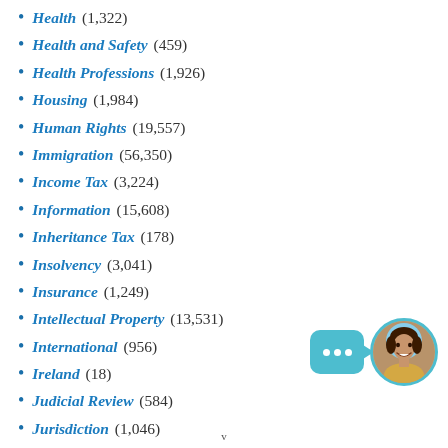Health (1,322)
Health and Safety (459)
Health Professions (1,926)
Housing (1,984)
Human Rights (19,557)
Immigration (56,350)
Income Tax (3,224)
Information (15,608)
Inheritance Tax (178)
Insolvency (3,041)
Insurance (1,249)
Intellectual Property (13,531)
International (956)
Ireland (18)
Judicial Review (584)
Jurisdiction (1,046)
Jury (800)
Land (5,291)
Landlord and Tenant (15,646)
Legal Aid (391)
Legal Professions (1,953)
Licensing (594)
Limitation (1,062)
[Figure (illustration): Chat widget with teal speech bubble with three dots and circular avatar photo of a smiling woman]
v